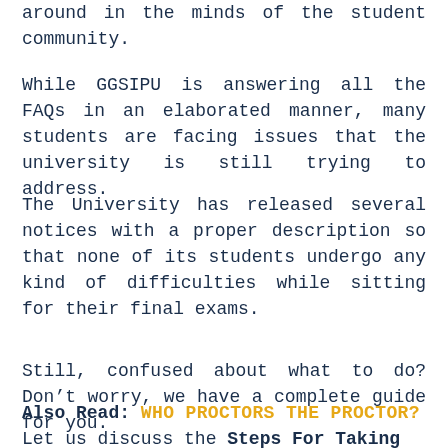around in the minds of the student community.
While GGSIPU is answering all the FAQs in an elaborated manner, many students are facing issues that the university is still trying to address.
The University has released several notices with a proper description so that none of its students undergo any kind of difficulties while sitting for their final exams.
Still, confused about what to do? Don’t worry, we have a complete guide for you.
Also Read: WHO PROCTORS THE PROCTOR?
Let us discuss the Steps For Taking Online